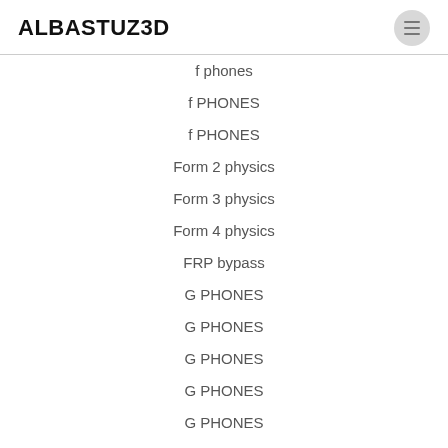ALBASTUZ3D
f phones
f PHONES
f PHONES
Form 2 physics
Form 3 physics
Form 4 physics
FRP bypass
G PHONES
G PHONES
G PHONES
G PHONES
G PHONES
G PHONES